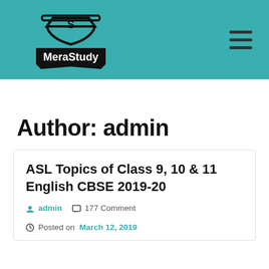[Figure (logo): MeraStudy logo with graduation cap icon on teal background header bar]
Author: admin
ASL Topics of Class 9, 10 & 11 English CBSE 2019-20
admin  177 Comment  Posted on March 12, 2019